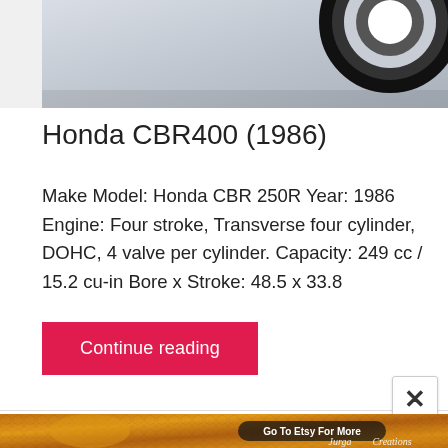[Figure (photo): Top portion of a motorcycle photo showing a tire/wheel on a light gray background, partially cropped]
Honda CBR400 (1986)
Make Model: Honda CBR 250R Year: 1986 Engine: Four stroke, Transverse four cylinder, DOHC, 4 valve per cylinder. Capacity: 249 cc / 15.2 cu-in Bore x Stroke: 48.5 x 33.8
Continue reading
[Figure (illustration): Colorful artwork advertisement banner for Jurga Creations on Etsy, featuring an artistic face with bees and honeycomb pattern in warm orange/yellow tones. Contains text 'Go To Etsy For More' and 'Jurga Creations' logo.]